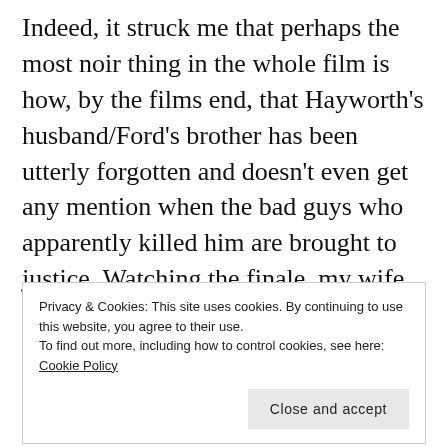Indeed, it struck me that perhaps the most noir thing in the whole film is how, by the films end, that Hayworth's husband/Ford's brother has been utterly forgotten and doesn't even get any mention when the bad guys who apparently killed him are brought to justice. Watching the finale, my wife commented “but what about her husband, why did they kill him?” asking a question the film totally forgets to answer. It suggests the laziness with which the film was
Privacy & Cookies: This site uses cookies. By continuing to use this website, you agree to their use.
To find out more, including how to control cookies, see here: Cookie Policy
often moody cinematography and an excellent